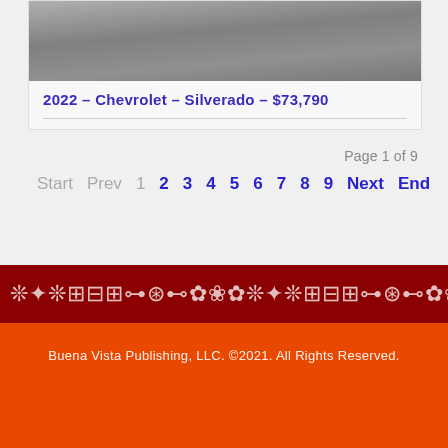[Figure (photo): Top portion of a vehicle listing photo showing a gray/dark background, partially cropped]
2022 - Chevrolet - Silverado - $73,790
Page 1 of 9
Start  Prev  1  2  3  4  5  6  7  8  9  Next  End
[Figure (illustration): Decorative dark red banner with repeated Aztec/Native American style symbols]
Buena Vista Publishing, LLC. ©2021. All Rights Reserved.